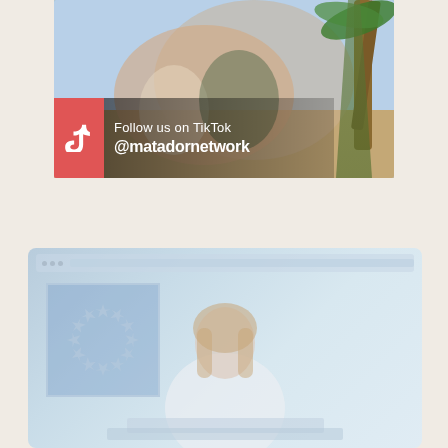[Figure (photo): Two people sitting in a tropical/beach setting with palm trees in background. A TikTok promotional overlay is visible in the lower-left showing the TikTok icon on a red background, with white text reading 'Follow us on TikTok' and '@matadornetwork' in bold.]
[Figure (screenshot): Screenshot or video thumbnail showing a woman with long hair in what appears to be a light blue room or studio setting, with a European Union flag visible on the left side. Appears to be a news broadcast or presentation setting.]